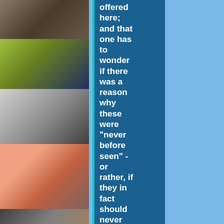[Figure (photo): Strip of six celebrity portrait photos stacked vertically on the left side]
offered here; and that one has to wonder if there was a reason why these were "never before seen" - or rather, if they in fact should never have been